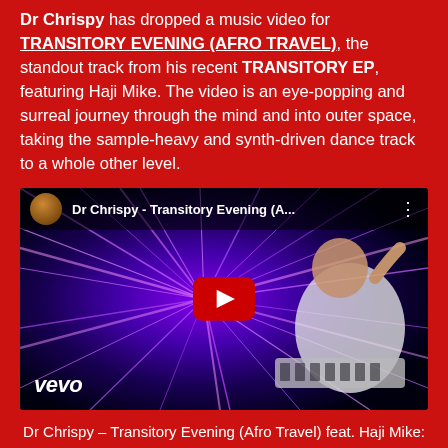Dr Chrispy has dropped a music video for TRANSITORY EVENING (AFRO TRAVEL), the standout track from his recent TRANSITORY EP, featuring Haji Mike. The video is an eye-popping and surreal journey through the mind and into outer space, taking the sample-heavy and synth-driven dance track to a whole other level.
[Figure (screenshot): YouTube/Vevo embedded music video thumbnail for Dr Chrispy - Transitory Evening (A...). Shows purple laser light rays radiating from center, a man in white shirt playing keyboard on the right, YouTube play button in center, Vevo logo bottom left, video title bar at top.]
Dr Chrispy – Transitory Evening (Afro Travel) feat. Haji Mike: